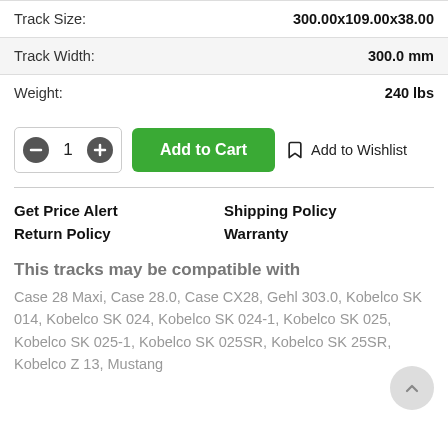| Property | Value |
| --- | --- |
| Track Size: | 300.00x109.00x38.00 |
| Track Width: | 300.0 mm |
| Weight: | 240 lbs |
− 1 + | Add to Cart | Add to Wishlist
Get Price Alert | Shipping Policy | Return Policy | Warranty
This tracks may be compatible with
Case 28 Maxi, Case 28.0, Case CX28, Gehl 303.0, Kobelco SK 014, Kobelco SK 024, Kobelco SK 024-1, Kobelco SK 025, Kobelco SK 025-1, Kobelco SK 025SR, Kobelco SK 25SR, Kobelco Z 13, Mustang